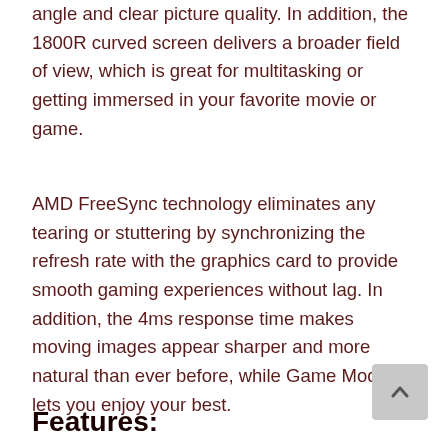angle and clear picture quality. In addition, the 1800R curved screen delivers a broader field of view, which is great for multitasking or getting immersed in your favorite movie or game.
AMD FreeSync technology eliminates any tearing or stuttering by synchronizing the refresh rate with the graphics card to provide smooth gaming experiences without lag. In addition, the 4ms response time makes moving images appear sharper and more natural than ever before, while Game Mode lets you enjoy your best.
Features: